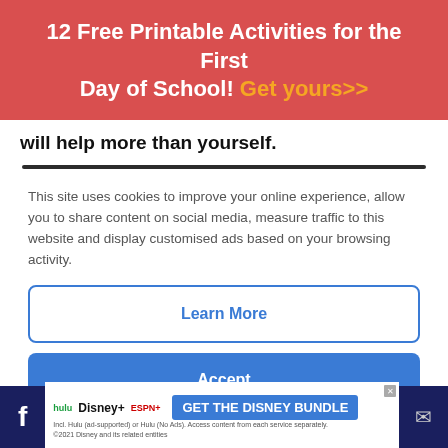12 Free Printable Activities for the First Day of School! Get yours>>
will help more than yourself.
This site uses cookies to improve your online experience, allow you to share content on social media, measure traffic to this website and display customised ads based on your browsing activity.
Learn More
Accept
My to-do list just keeps getting longer. I teach high school, and I'm
GET THE DISNEY BUNDLE  hulu  Disney+  ESPN+  Incl. Hulu (ad-supported) or Hulu (No Ads). Access content from each service separately. ©2021 Disney and its related entities